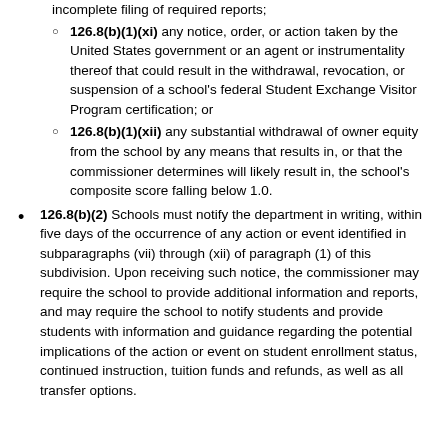126.8(b)(1)(xi) any notice, order, or action taken by the United States government or an agent or instrumentality thereof that could result in the withdrawal, revocation, or suspension of a school's federal Student Exchange Visitor Program certification; or
126.8(b)(1)(xii) any substantial withdrawal of owner equity from the school by any means that results in, or that the commissioner determines will likely result in, the school's composite score falling below 1.0.
126.8(b)(2) Schools must notify the department in writing, within five days of the occurrence of any action or event identified in subparagraphs (vii) through (xii) of paragraph (1) of this subdivision. Upon receiving such notice, the commissioner may require the school to provide additional information and reports, and may require the school to notify students and provide students with information and guidance regarding the potential implications of the action or event on student enrollment status, continued instruction, tuition funds and refunds, as well as all transfer options.